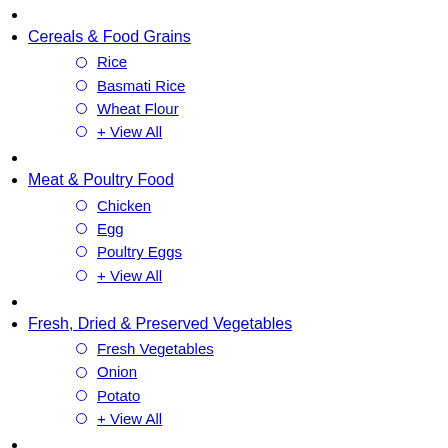Cereals & Food Grains
Rice
Basmati Rice
Wheat Flour
+ View All
Meat & Poultry Food
Chicken
Egg
Poultry Eggs
+ View All
Fresh, Dried & Preserved Vegetables
Fresh Vegetables
Onion
Potato
+ View All